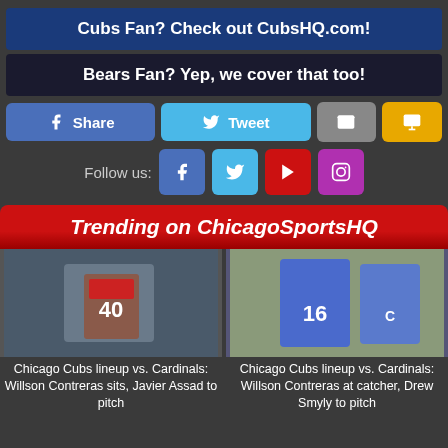Cubs Fan? Check out CubsHQ.com!
Bears Fan? Yep, we cover that too!
[Figure (infographic): Social share buttons: Facebook Share, Twitter Tweet, Email, SMS]
[Figure (infographic): Follow us buttons: Facebook, Twitter, YouTube, Instagram]
Trending on ChicagoSportsHQ
[Figure (photo): Chicago Cubs player #40 at bat]
Chicago Cubs lineup vs. Cardinals: Willson Contreras sits, Javier Assad to pitch
[Figure (photo): Chicago Cubs player #16 being greeted by teammate]
Chicago Cubs lineup vs. Cardinals: Willson Contreras at catcher, Drew Smyly to pitch